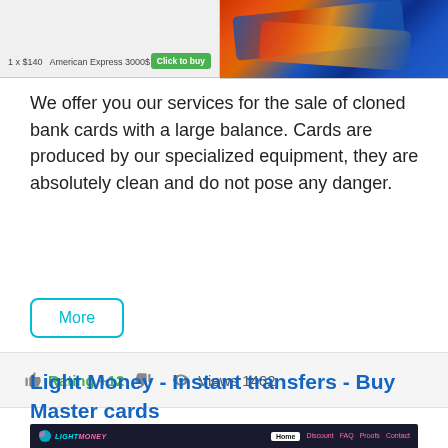[Figure (screenshot): Two side-by-side images at top: left shows a product listing with text '1 x $140 American Express 3000$' and green 'Click to buy' button on light gray background; right shows colorful credit cards in blue, orange and red tones]
We offer you our services for the sale of cloned bank cards with a large balance. Cards are produced by our specialized equipment, they are absolutely clean and do not pose any danger.
[Figure (other): A 'More' button with cyan/teal border and text]
👍 Rating +12 👎  👁 Views 1462
Light Money - Instant transfers - Buy Master cards
[Figure (screenshot): Screenshot of Light Money website showing dark navigation bar with logo 'LIGHT MONEY' and menu items: Home, Discount, FAQ, Proofs, Contact. Below is a purple/dark city scene with palm trees and neon 'LightMoney' text and tagline 'YOUR ROAD GO DREAM']